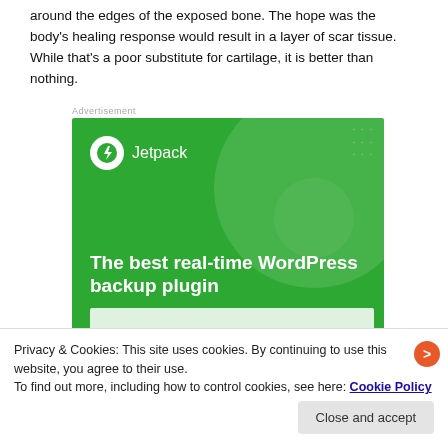around the edges of the exposed bone. The hope was the body's healing response would result in a layer of scar tissue. While that's a poor substitute for cartilage, it is better than nothing.
[Figure (screenshot): Jetpack advertisement banner — green background with large circle graphic, Jetpack logo (lightning bolt icon in white circle) and brand name, headline: 'The best real-time WordPress backup plugin', partially visible button at bottom.]
Privacy & Cookies: This site uses cookies. By continuing to use this website, you agree to their use.
To find out more, including how to control cookies, see here: Cookie Policy